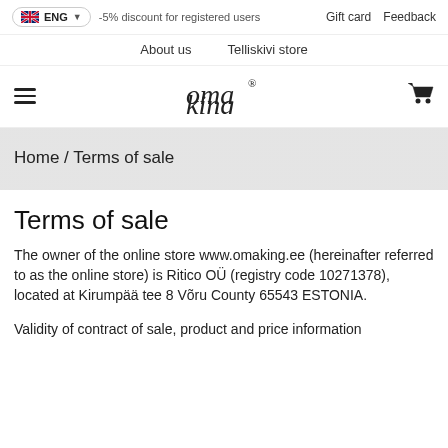ENG | -5% discount for registered users | Gift card | Feedback
About us   Telliskivi store
[Figure (logo): Oma King handwritten logo with registered trademark symbol, hamburger menu icon on left, shopping cart icon on right]
Home / Terms of sale
Terms of sale
The owner of the online store www.omaking.ee (hereinafter referred to as the online store) is Ritico OÜ (registry code 10271378), located at Kirumpää tee 8 Võru County 65543 ESTONIA.
Validity of contract of sale, product and price information